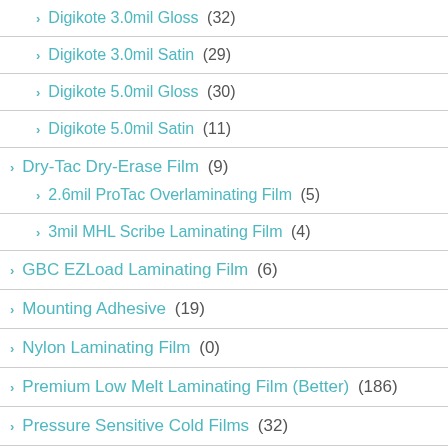Digikote 3.0mil Gloss (32)
Digikote 3.0mil Satin (29)
Digikote 5.0mil Gloss (30)
Digikote 5.0mil Satin (11)
Dry-Tac Dry-Erase Film (9)
2.6mil ProTac Overlaminating Film (5)
3mil MHL Scribe Laminating Film (4)
GBC EZLoad Laminating Film (6)
Mounting Adhesive (19)
Nylon Laminating Film (0)
Premium Low Melt Laminating Film (Better) (186)
Pressure Sensitive Cold Films (32)